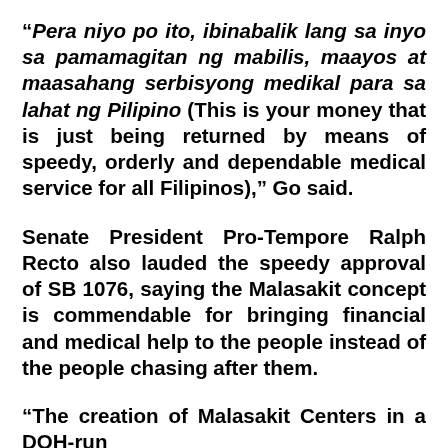“Pera niyo po ito, ibinabalik lang sa inyo sa pamamagitan ng mabilis, maayos at maasahang serbisyong medikal para sa lahat ng Pilipino (This is your money that is just being returned by means of speedy, orderly and dependable medical service for all Filipinos),” Go said.
Senate President Pro-Tempore Ralph Recto also lauded the speedy approval of SB 1076, saying the Malasakit concept is commendable for bringing financial and medical help to the people instead of the people chasing after them.
“The creation of Malasakit Centers in a DOH-run hospital and other DOH-run centers is indeed…